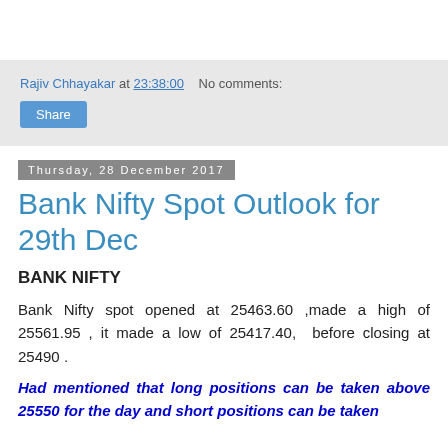Rajiv Chhayakar at 23:38:00   No comments:
Share
Thursday, 28 December 2017
Bank Nifty Spot Outlook for 29th Dec
BANK NIFTY
Bank Nifty spot opened at 25463.60 ,made a high of 25561.95 , it made a low of 25417.40, before closing at 25490 .
Had mentioned that long positions can be taken above 25550 for the day and short positions can be taken